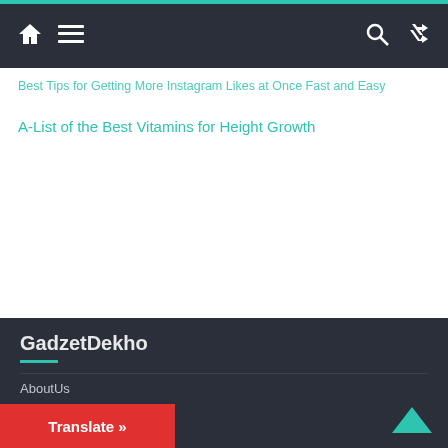Navigation bar with home icon, menu icon, search icon, shuffle icon
Best Tips for Getting More Instagram Likes at Once Fast and Easy
A-List of the Best Vitamins for Height Growth
GadzetDekho
AboutUs
Contact Us
Guest Post
Privacy Policy
Categories
Translate »